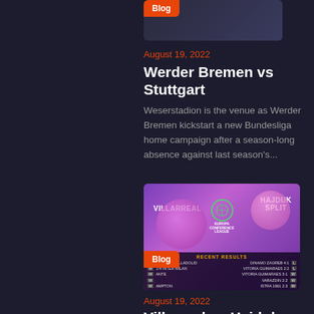[Figure (screenshot): Dark banner image with Blog badge overlay]
August 19, 2022
Werder Bremen vs Stuttgart
Weserstadion is the venue as Werder Bremen kickstart a new Bundesliga home campaign after a season-long absence against last season's...
[Figure (screenshot): Europa Conference League draw image showing Villarreal vs Hajduk Split with recent results table, Blog badge overlay]
August 19, 2022
Villarreal vs Hajduk Split